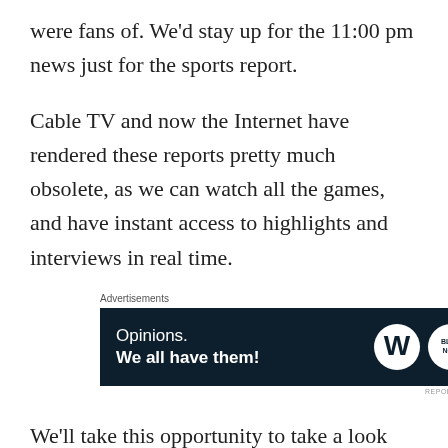were fans of. We'd stay up for the 11:00 pm news just for the sports report.
Cable TV and now the Internet have rendered these reports pretty much obsolete, as we can watch all the games, and have instant access to highlights and interviews in real time.
[Figure (other): Advertisement banner with dark navy background. Left side shows text: 'Opinions. We all have them!' in white. Right side shows WordPress logo (W in circle) and a circular blog logo. Label 'Advertisements' appears above the banner. 'REPORT THIS AD' text appears below right.]
We'll take this opportunity to take a look back at some of the TV sports anchors that we've had